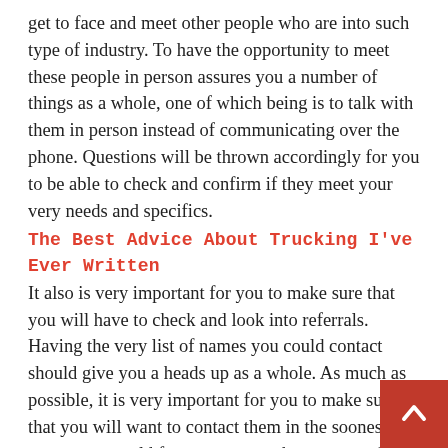get to face and meet other people who are into such type of industry. To have the opportunity to meet these people in person assures you a number of things as a whole, one of which being is to talk with them in person instead of communicating over the phone. Questions will be thrown accordingly for you to be able to check and confirm if they meet your very needs and specifics.
The Best Advice About Trucking I've Ever Written
It also is very important for you to make sure that you will have to check and look into referrals. Having the very list of names you could contact should give you a heads up as a whole. As much as possible, it is very important for you to make sure that you will want to contact them in the soonest means you could for you to get to know more about their overall experience with the professional trucking company. Do this and you should narrow down your list by knowing which among the list of trucking companies shows promising results.
The Best Advice About Trucking I've Ever Written
Make use of the internet and see to it that you will want to use all of the resources you could possibly benefit from. To make